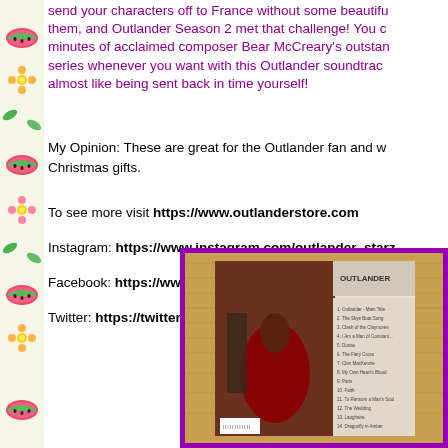send your characters off to France without some beautiful music to accompany them, and Outlander Season 2 met that challenge! You can relive every glorious minutes of acclaimed composer Bear McCreary's outstanding work on this beloved series whenever you want with this Outlander soundtrack. Listening to this is almost like being sent back in time yourself!
My Opinion: These are great for the Outlander fan and would make wonderful Christmas gifts.
To see more visit https://www.outlanderstore.com
Instagram: https://www.instagram.com/outlander_starz
Facebook: https://www.facebook.com/OutlanderTVSeries
Twitter: https://twitter.com/outlander_starz
[Figure (photo): Photo of Outlander Season 2 soundtrack CD case back cover, showing characters in period costume, with a purple border frame, placed on a wooden surface.]